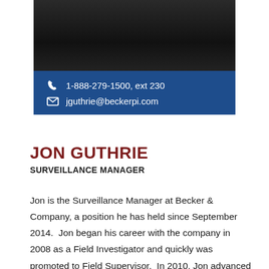[Figure (photo): Dark professional headshot photo of Jon Guthrie, mostly black/dark tones]
1-888-279-1500, ext 230
jguthrie@beckerpi.com
JON GUTHRIE
SURVEILLANCE MANAGER
Jon is the Surveillance Manager at Becker & Company, a position he has held since September 2014.  Jon began his career with the company in 2008 as a Field Investigator and quickly was promoted to Field Supervisor.  In 2010, Jon advanced to Surveillance Coordinator, and after 4 years in that role he was promoted into his